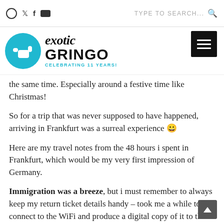Social icons: Instagram, Twitter, Facebook, YouTube | TYPE TO SEARCH...
[Figure (logo): Exotic Gringo logo with cyan circle containing a hand gesture icon, bold text reading 'exotic GRINGO' and subtitle 'CELEBRATING 11 YEARS!']
the same time. Especially around a festive time like Christmas!
So for a trip that was never supposed to have happened, arriving in Frankfurt was a surreal experience 🙂
Here are my travel notes from the 48 hours i spent in Frankfurt, which would be my very first impression of Germany.
Immigration was a breeze, but i must remember to always keep my return ticket details handy – took me a while to connect to the WiFi and produce a digital copy of it to the officer.